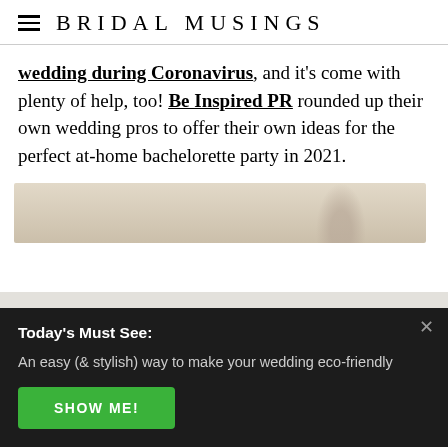BRIDAL MUSINGS
wedding during Coronavirus, and it's come with plenty of help, too! Be Inspired PR rounded up their own wedding pros to offer their own ideas for the perfect at-home bachelorette party in 2021.
[Figure (photo): Partial photo strip, light beige/neutral toned, partially visible]
Today's Must See: An easy (& stylish) way to make your wedding eco-friendly SHOW ME!